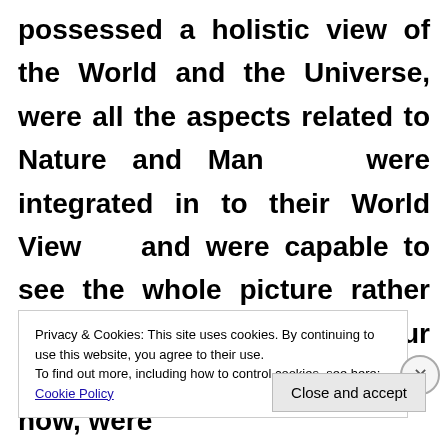possessed a holistic view of the World and the Universe, were all the aspects related to Nature and Man were integrated in to their World View and were capable to see the whole picture rather than just the details, as our shortsighted World View does now, were
Privacy & Cookies: This site uses cookies. By continuing to use this website, you agree to their use.
To find out more, including how to control cookies, see here: Cookie Policy